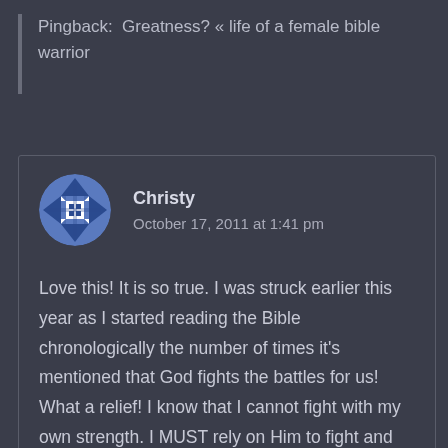Pingback:  Greatness? « life of a female bible warrior
[Figure (illustration): Circular avatar with blue and white geometric quilt/snowflake pattern on grey background]
Christy
October 17, 2011 at 1:41 pm
Love this! It is so true. I was struck earlier this year as I started reading the Bible chronologically the number of times it's mentioned that God fights the battles for us! What a relief! I know that I cannot fight with my own strength. I MUST rely on Him to fight and rescue me. I will cling to His side and be faithful to Him and He will always be faithful